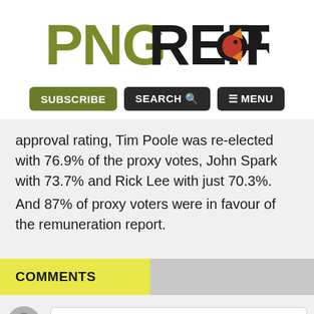[Figure (logo): PNG Report logo with olive green PNG text, black REPORT text, and a red/orange fish illustration]
SUBSCRIBE  SEARCH  ☰ MENU
approval rating, Tim Poole was re-elected with 76.9% of the proxy votes, John Spark with 73.7% and Rick Lee with just 70.3%.
And 87% of proxy voters were in favour of the remuneration report.
COMMENTS
Add a comment
Newest